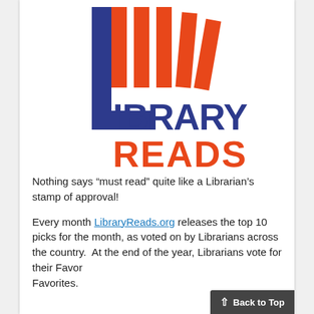[Figure (logo): LibraryReads logo: a large blue 'L' with orange vertical book-spine bars above it, followed by 'IBRARY' in dark blue bold text and 'READS' in orange bold text below]
Nothing says “must read” quite like a Librarian’s stamp of approval!
Every month LibraryReads.org releases the top 10 picks for the month, as voted on by Librarians across the country.  At the end of the year, Librarians vote for their Favor… Favorites.